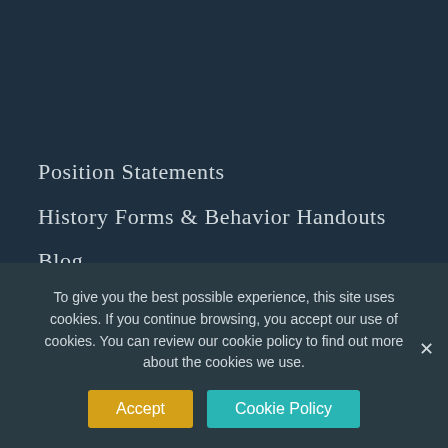Position Statements
History Forms & Behavior Handouts
Blog
Members Directory
Activity
Groups
Support
Privacy Policy
To give you the best possible experience, this site uses cookies. If you continue browsing, you accept our use of cookies. You can review our cookie policy to find out more about the cookies we use.
Accept
Cookie Policy